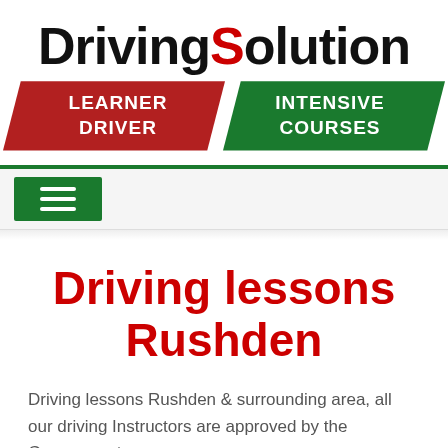[Figure (logo): DrivingSolution logo with red 'S', red banner 'LEARNER DRIVER' and green banner 'INTENSIVE COURSES']
Driving lessons Rushden
Driving lessons Rushden & surrounding area, all our driving Instructors are approved by the Government